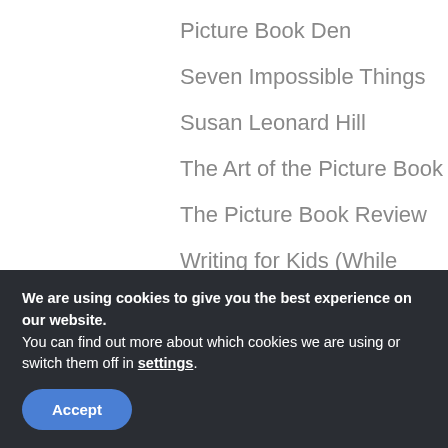Picture Book Den
Seven Impossible Things
Susan Leonard Hill
The Art of the Picture Book
The Picture Book Review
Writing for Kids (While Raising Them)
TAG ME BABY!
art lessons  color  creative process
We are using cookies to give you the best experience on our website.
You can find out more about which cookies we are using or switch them off in settings.
Accept